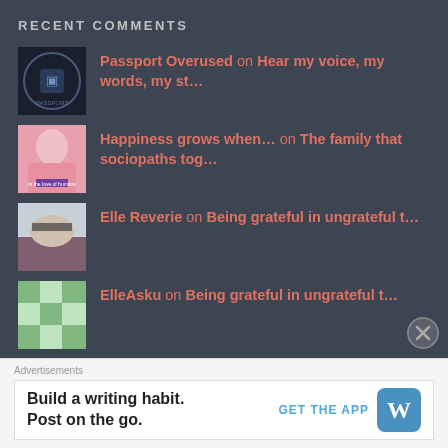RECENT COMMENTS
Passport Overused on Hear my voice, my words, my st…
Happiness grows when… on The family that sociopaths tog…
Elle Reverie on Being grateful in ungrateful t…
ElleAsku on Being grateful in ungrateful t…
Rehumanize yourself… on The family that sociopaths tog…
Advertisements
Build a writing habit. Post on the go. GET THE APP